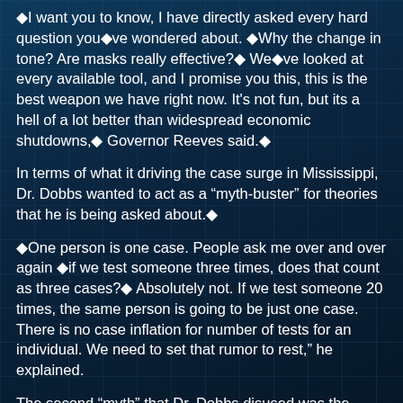�I want you to know, I have directly asked every hard question youâve wondered about. âWhy the change in tone? Are masks really effective?â Weâve looked at every available tool, and I promise you this, this is the best weapon we have right now. It's not fun, but its a hell of a lot better than widespread economic shutdowns,â Governor Reeves said.â
In terms of what it driving the case surge in Mississippi, Dr. Dobbs wanted to act as a “myth-buster” for theories that he is being asked about.â
âOne person is one case. People ask me over and over again âif we test someone three times, does that count as three cases?â Absolutely not. If we test someone 20 times, the same person is going to be just one case. There is no case inflation for number of tests for an individual. We need to set that rumor to rest,” he explained.
The second “myth” that Dr. Dobbs disused was the reporting of positive antibody tests. He stated that of Mississippiâs 36,680âcases, just 285 are antibody tests.â
“Itâs a small number, and itâs only people who have a